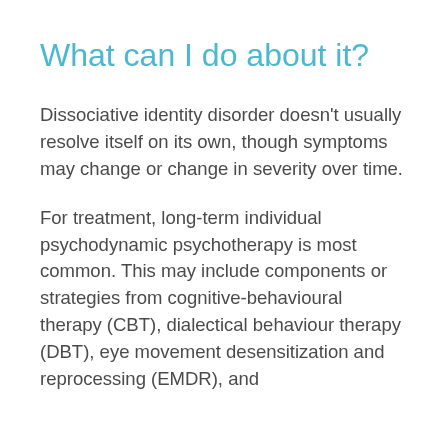What can I do about it?
Dissociative identity disorder doesn't usually resolve itself on its own, though symptoms may change or change in severity over time.
For treatment, long-term individual psychodynamic psychotherapy is most common. This may include components or strategies from cognitive-behavioural therapy (CBT), dialectical behaviour therapy (DBT), eye movement desensitization and reprocessing (EMDR), and